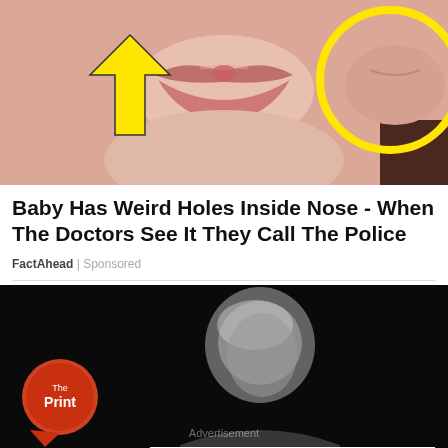[Figure (photo): Close-up photo of a baby face showing lips/nose area with yellow arrow pointing left and yellow circle highlighting area on right side]
Baby Has Weird Holes Inside Nose - When The Doctors See It They Call The Police
FactAhead | Sponsored
[Figure (screenshot): Dark video thumbnail showing a blurred elderly man with The Print logo in bottom left and an advertisement bar at the bottom showing: Ashburn OPEN 7:30AM-6PM, 43781 Parkhurst Plaza, Ashburn]